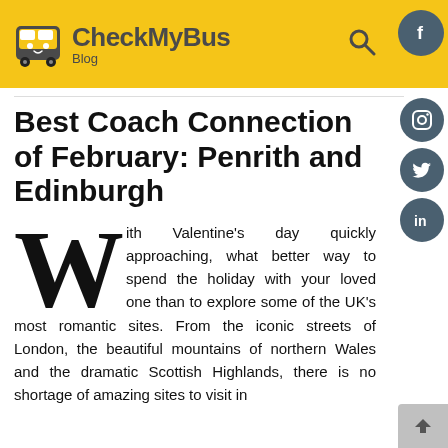CheckMyBus Blog
Best Coach Connection of February: Penrith and Edinburgh
With Valentine’s day quickly approaching, what better way to spend the holiday with your loved one than to explore some of the UK’s most romantic sites. From the iconic streets of London, the beautiful mountains of northern Wales and the dramatic Scottish Highlands, there is no shortage of amazing sites to visit in